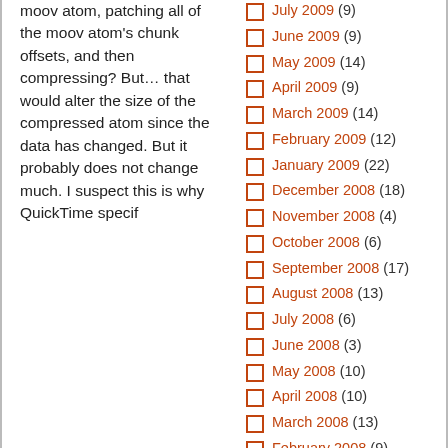moov atom, patching all of the moov atom's chunk offsets, and then compressing? But… that would alter the size of the compressed atom since the data has changed. But it probably does not change much. I suspect this is why QuickTime specif
July 2009 (9)
June 2009 (9)
May 2009 (14)
April 2009 (9)
March 2009 (14)
February 2009 (12)
January 2009 (22)
December 2008 (18)
November 2008 (4)
October 2008 (6)
September 2008 (17)
August 2008 (13)
July 2008 (6)
June 2008 (3)
May 2008 (10)
April 2008 (10)
March 2008 (13)
February 2008 (9)